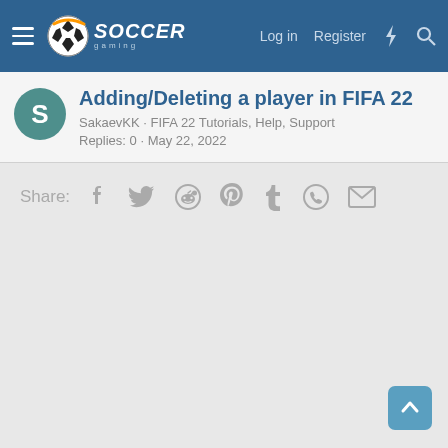Soccer Gaming — Log in · Register
Adding/Deleting a player in FIFA 22
SakaevKK · FIFA 22 Tutorials, Help, Support
Replies: 0 · May 22, 2022
Share: (Facebook, Twitter, Reddit, Pinterest, Tumblr, WhatsApp, Email)